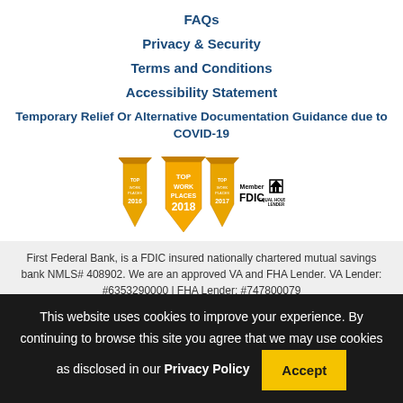FAQs
Privacy & Security
Terms and Conditions
Accessibility Statement
Temporary Relief Or Alternative Documentation Guidance due to COVID-19
[Figure (logo): Top Work Places 2016, 2017, 2018 badges alongside Member FDIC and Equal Housing Lender logos]
First Federal Bank, is a FDIC insured nationally chartered mutual savings bank NMLS# 408902. We are an approved VA and FHA Lender. VA Lender: #6353290000 | FHA Lender: #747800079
This website uses cookies to improve your experience. By continuing to browse this site you agree that we may use cookies as disclosed in our Privacy Policy  Accept